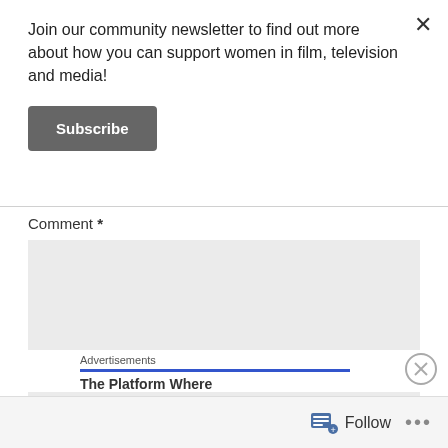Join our community newsletter to find out more about how you can support women in film, television and media!
Subscribe
Comment *
Advertisements
The Platform Where
Follow